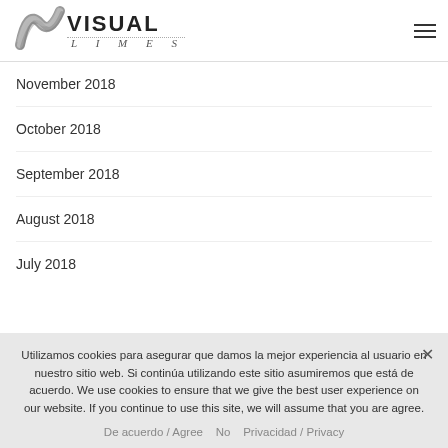[Figure (logo): Visual Limes logo with stylized wave graphic and text VISUAL LIMES]
November 2018
October 2018
September 2018
August 2018
July 2018
Utilizamos cookies para asegurar que damos la mejor experiencia al usuario en nuestro sitio web. Si continúa utilizando este sitio asumiremos que está de acuerdo. We use cookies to ensure that we give the best user experience on our website. If you continue to use this site, we will assume that you are agree.
De acuerdo / Agree   No   Privacidad / Privacy